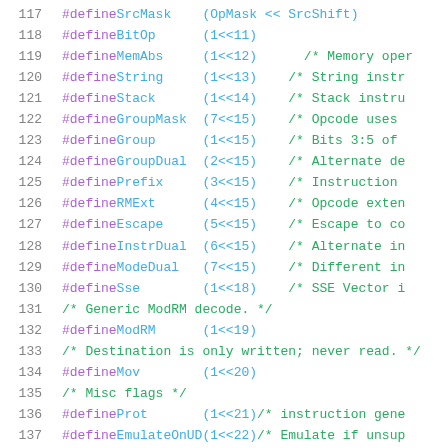[Figure (screenshot): Source code listing showing C preprocessor #define macros for CPU instruction flags, lines 117-137. Line numbers in grey on left, keywords in purple, identifiers and values in blue, comments in green.]